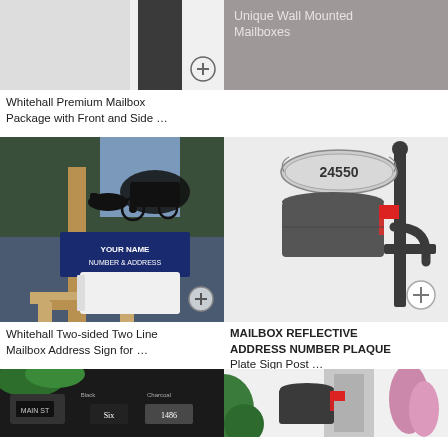[Figure (photo): Top portion of a mailbox post package product image, showing a dark rectangular mailbox component against a light gray background]
[Figure (photo): Gray banner image with text 'Unique Wall Mounted Mailboxes']
Unique Wall Mounted Mailboxes
Whitehall Premium Mailbox Package with Front and Side ...
[Figure (photo): Whitehall two-sided mailbox address sign mounted on a wooden post, featuring a horse-drawn buggy silhouette and a sign reading 'YOUR NAME NUMBER & ADDRESS' with a white mailbox below]
[Figure (photo): Gray mailbox on a post with an oval address plaque showing '24550', a red flag, and a curved post bracket, against a light gray background]
Whitehall Two-sided Two Line Mailbox Address Sign for ...
MAILBOX REFLECTIVE ADDRESS NUMBER PLAQUE Plate Sign Post ...
[Figure (photo): Dark background product image showing mailbox with address numbers including 'Six' and '1486' text labels in Black and Charcoal colors]
[Figure (photo): Outdoor scene showing a wall-mounted mailbox with red flag near a door with pink flowers]